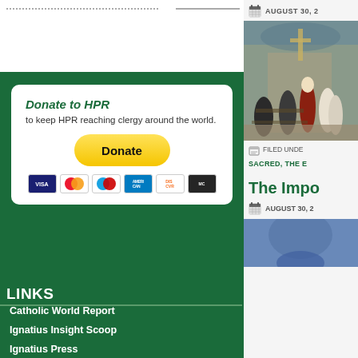[Figure (other): Donate to HPR widget with PayPal donate button and payment card icons (Visa, Mastercard, Maestro, AmEx, Discover, MC)]
LINKS
Catholic World Report
Ignatius Insight Scoop
Ignatius Press
Napa Institute Annual Conference
The Pope's Monthly Intentions
News.va: News from the Vatican
Liturgy of the Hours / Divine Office
Daily Mass Readings
U.S. Conference of Catholic Bishops
AUGUST 30, 2
[Figure (photo): Photo of clergy in robes at altar in a church]
FILED UNDE
SACRED, THE E
The Impo
AUGUST 30, 2
[Figure (photo): Partial photo at bottom right, blue tones]